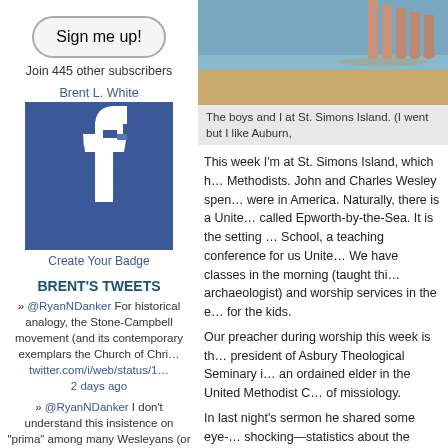Sign me up!
Join 445 other subscribers
Brent L. White
[Figure (logo): Facebook logo badge image]
Create Your Badge
BRENT'S TWEETS
» @RyanNDanker For historical analogy, the Stone-Campbell movement (and its contemporary exemplars the Church of Chri… twitter.com/i/web/status/1… 2 days ago
» @RyanNDanker I don't understand this insistence on "prima" among many Wesleyans (or at least Methodists). Luther is…
[Figure (photo): Photo of boys and person at St. Simons Island beach, feet visible]
The boys and I at St. Simons Island. (I went but I like Auburn,
This week I'm at St. Simons Island, which h… Methodists. John and Charles Wesley spen… were in America. Naturally, there is a Unite… called Epworth-by-the-Sea. It is the setting … School, a teaching conference for us Unite… We have classes in the morning (taught thi… archaeologist) and worship services in the … for the kids.
Our preacher during worship this week is th… president of Asbury Theological Seminary i… an ordained elder in the United Methodist C… of missiology.
In last night's sermon he shared some eye-… shocking—statistics about the number of se… post-Christian, post-Christendom culture in… have the exact numbers from the sermon, h… shared elsewhere:
The white Caucasian peoples, once…